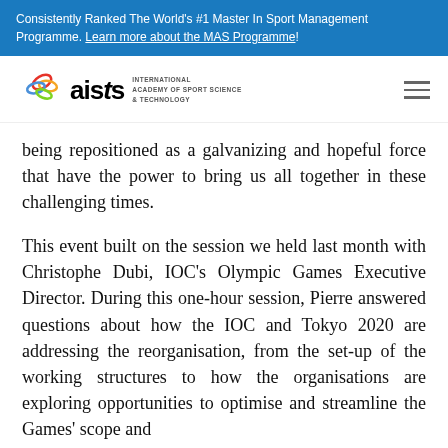Consistently Ranked The World's #1 Master In Sport Management Programme. Learn more about the MAS Programme!
[Figure (logo): AISTS logo — International Academy of Sport Science & Technology — with colorful Olympic-ring-style graphic and hamburger menu icon]
being repositioned as a galvanizing and hopeful force that have the power to bring us all together in these challenging times.
This event built on the session we held last month with Christophe Dubi, IOC's Olympic Games Executive Director. During this one-hour session, Pierre answered questions about how the IOC and Tokyo 2020 are addressing the reorganisation, from the set-up of the working structures to how the organisations are exploring opportunities to optimise and streamline the Games' scope and